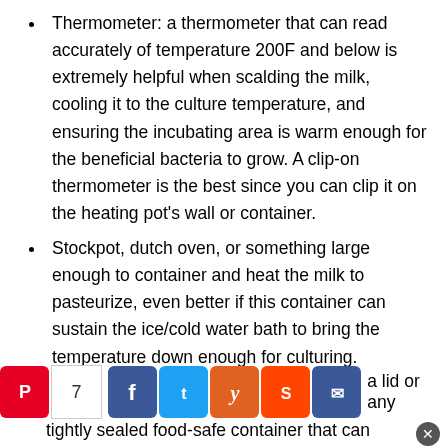Thermometer: a thermometer that can read accurately of temperature 200F and below is extremely helpful when scalding the milk, cooling it to the culture temperature, and ensuring the incubating area is warm enough for the beneficial bacteria to grow. A clip-on thermometer is the best since you can clip it on the heating pot's wall or container.
Stockpot, dutch oven, or something large enough to container and heat the milk to pasteurize, even better if this container can sustain the ice/cold water bath to bring the temperature down enough for culturing.
Container: a jar or a lid or any tightly sealed food-safe container that can...